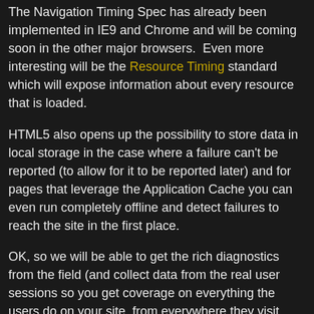The Navigation Timing Spec has already been implemented in IE9 and Chrome and will be coming soon in the other major browsers. Even more interesting will be the Resource Timing standard which will expose information about every resource that is loaded.
HTML5 also opens up the possibility to store data in local storage in the case where a failure can't be reported (to allow for it to be reported later) and for pages that leverage the Application Cache you can even run completely offline and detect failures to reach the site in the first place.
OK, so we will be able to get the rich diagnostics from the field (and collect data from the real user sessions so you get coverage on everything the users do on your site, from everywhere they visit, etc) - that's a lot of data, what do you do with it?
Big Data to the rescue. Data storage and analysis for huge data sets has started to explode. Primarily driven by hadoop but there are tons of commercial companies and services entering the space. It's already possible to store, process and analyze petabytes (and more) very efficiently and things